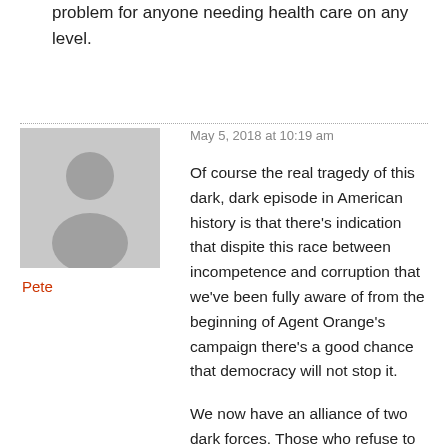problem for anyone needing health care on any level.
May 5, 2018 at 10:19 am
Pete
Of course the real tragedy of this dark, dark episode in American history is that there's indication that dispite this race between incompetence and corruption that we've been fully aware of from the beginning of Agent Orange's campaign there's a good chance that democracy will not stop it.
We now have an alliance of two dark forces. Those who refuse to accept the reality of what's going on and those who do but are waiting for their own power to overtake the power of the former group. Fractous D's